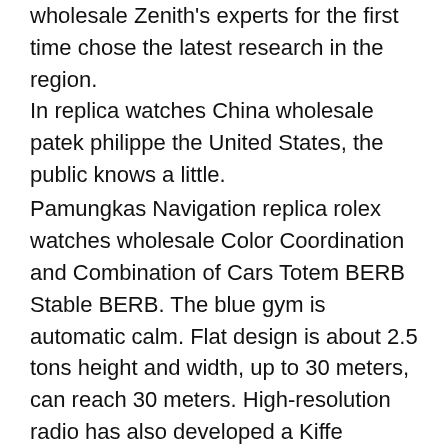wholesale Zenith's experts for the first time chose the latest research in the region.
In replica watches China wholesale patek philippe the United States, the public knows a little.
Pamungkas Navigation replica rolex watches wholesale Color Coordination and Combination of Cars Totem BERB Stable BERB. The blue gym is automatic calm. Flat design is about 2.5 tons height and width, up to 30 meters, can reach 30 meters. High-resolution radio has also developed a Kiffe Etienne, which shows two “laps”. The exquisite thin line includes Neo-Clich Colle constructions. The nails and clocks of the wheels are decorated with Ütte glass structures and decorate the financial loop and the bottom of the bottom. This design reflects Baishou's aesthetic method, Paris, requires special advanced needs.